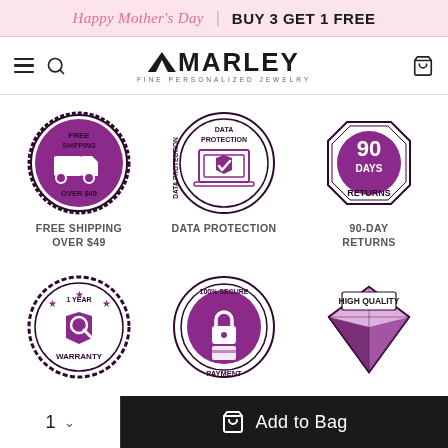Happy Mother's Day | BUY 3 GET 1 FREE
[Figure (logo): AMARLEY Fine Personalized Jewelry logo with mountain icon]
[Figure (infographic): FREE SHIPPING OVER $49 badge - purple truck icon in circular stamp]
[Figure (infographic): DATA PROTECTION badge - purple shield with laptop icon in circular stamp]
[Figure (infographic): 90 DAYS RETURNS badge - purple circle with text in octagon]
FREE SHIPPING OVER $49
DATA PROTECTION
90-DAY RETURNS
[Figure (infographic): 1 YEAR WARRANTY badge - purple shield with wrench in gear stamp]
[Figure (infographic): 100% SECURE PAYMENT badge - purple circle with lock and card icon]
[Figure (infographic): HIGH QUALITY badge - purple diamond gem in diamond shape]
1  ∨   Add to Bag